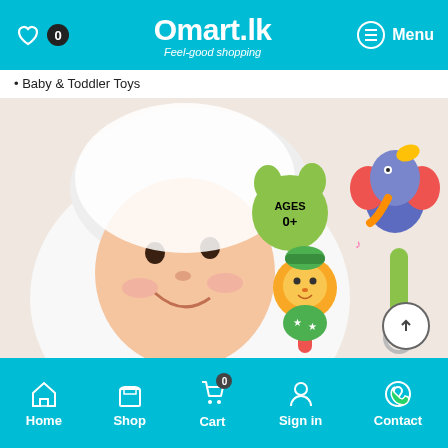Omart.lk - Feel-good shopping
Baby & Toddler Toys
[Figure (photo): Baby product photo showing a smiling baby wrapped in white towel, with colorful animal rattles: an elephant rattle on a green handle and a lion rattle, with music notes. Ages 0+ label shown on a green paw print graphic.]
Home | Shop | Cart | Sign in | Contact